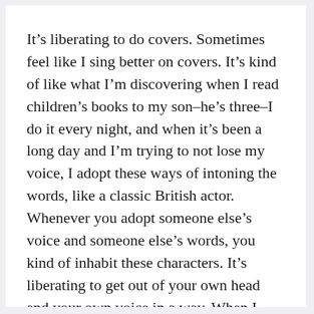It's liberating to do covers. Sometimes feel like I sing better on covers. It's kind of like what I'm discovering when I read children's books to my son–he's three–I do it every night, and when it's been a long day and I'm trying to not lose my voice, I adopt these ways of intoning the words, like a classic British actor. Whenever you adopt someone else's voice and someone else's words, you kind of inhabit these characters. It's liberating to get out of your own head and your own voice in a way. When I adopt these voices I don't lose my voice, but when I talk in my everyday voice it